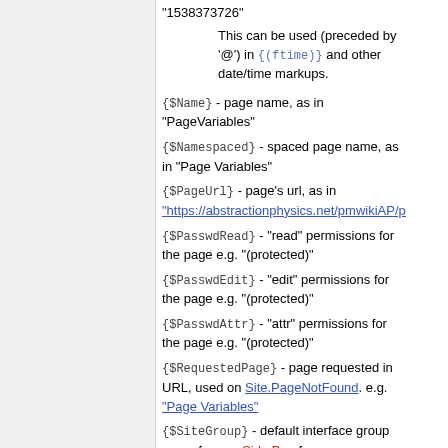"1538373726"
This can be used (preceded by '@') in {(ftime)} and other date/time markups.
{$Name} - page name, as in "PageVariables"
{$Namespaced} - spaced page name, as in "Page Variables"
{$PageUrl} - page's url, as in "https://abstractionphysics.net/pmwikiAP/p..."
{$PasswdRead} - "read" permissions for the page e.g. "(protected)"
{$PasswdEdit} - "edit" permissions for the page e.g. "(protected)"
{$PasswdAttr} - "attr" permissions for the page e.g. "(protected)"
{$RequestedPage} - page requested in URL, used on Site.PageNotFound. e.g. "Page Variables"
{$SiteGroup} - default interface group name for e.g. Side Bar, forms, templates, as in "Site"